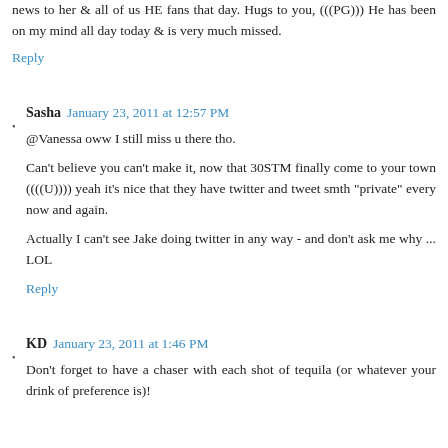news to her & all of us HE fans that day. Hugs to you, (((PG))) He has been on my mind all day today & is very much missed.
Reply
Sasha  January 23, 2011 at 12:57 PM
@Vanessa oww I still miss u there tho.
Can't believe you can't make it, now that 30STM finally come to your town ((((U)))) yeah it's nice that they have twitter and tweet smth "private" every now and again.
Actually I can't see Jake doing twitter in any way - and don't ask me why ... LOL
Reply
KD  January 23, 2011 at 1:46 PM
Don't forget to have a chaser with each shot of tequila (or whatever your drink of preference is)!